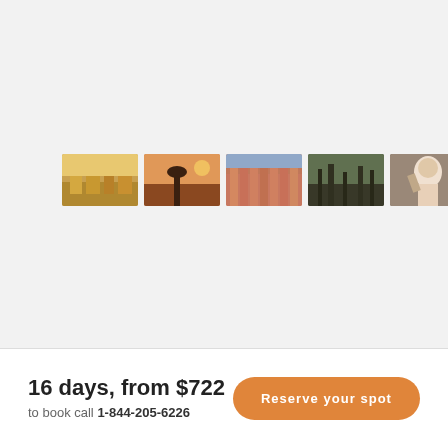[Figure (photo): Row of 9 travel destination thumbnail photos showing various India scenes including monuments, cities, people, and landscapes]
16 days, from $722
to book call 1-844-205-6226
Reserve your spot